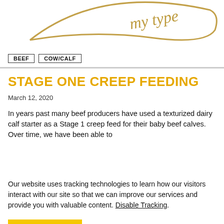[Figure (illustration): Gold decorative script text/logo partially visible at top of page]
BEEF
COW/CALF
STAGE ONE CREEP FEEDING
March 12, 2020
In years past many beef producers have used a texturized dairy calf starter as a Stage 1 creep feed for their baby beef calves. Over time, we have been able to
Our website uses tracking technologies to learn how our visitors interact with our site so that we can improve our services and provide you with valuable content. Disable Tracking.
OK